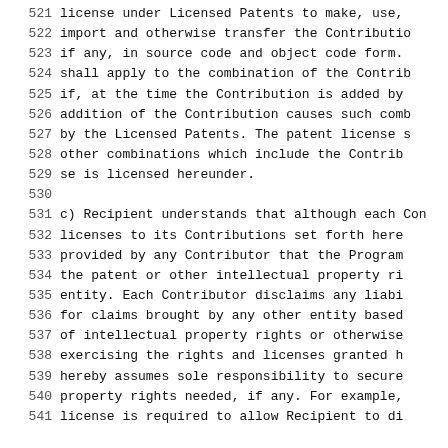521    license under Licensed Patents to make, use,
522    import and otherwise transfer the Contributio
523    if any, in source code and object code form.
524    shall apply to the combination of the Contri
525    if, at the time the Contribution is added by
526    addition of the Contribution causes such comb
527    by the Licensed Patents. The patent license s
528    other combinations which include the Contrib
529    se is licensed hereunder.
530
531 c) Recipient understands that although each Con
532    licenses to its Contributions set forth here
533    provided by any Contributor that the Program
534    the patent or other intellectual property ri
535    entity. Each Contributor disclaims any liabi
536    for claims brought by any other entity based
537    of intellectual property rights or otherwise
538    exercising the rights and licenses granted h
539    hereby assumes sole responsibility to secure
540    property rights needed, if any. For example,
541    license is required to allow Recipient to di